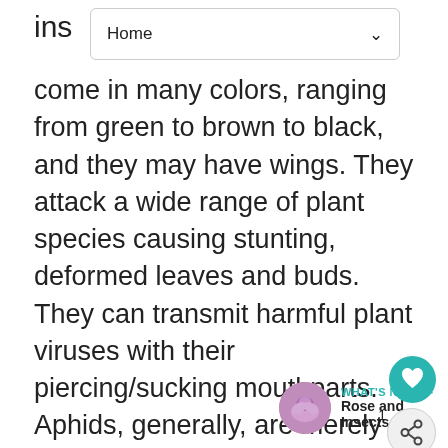ins   Home
come in many colors, ranging from green to brown to black, and they may have wings. They attack a wide range of plant species causing stunting, deformed leaves and buds. They can transmit harmful plant viruses with their piercing/sucking mouthparts. Aphids, generally, are merely a nuisance, since it takes many of them to cause serious plant damage. However aphids do produce a sweet substance called honeydew (coveted by ants) which can lead to an unattractive black surface growth called sooty mold.
[Figure (other): Heart/favorite button (teal circular icon with heart symbol) and share button (circular icon with share symbol), with a count badge '1']
WHAT'S NEXT → Rose and Insects –...